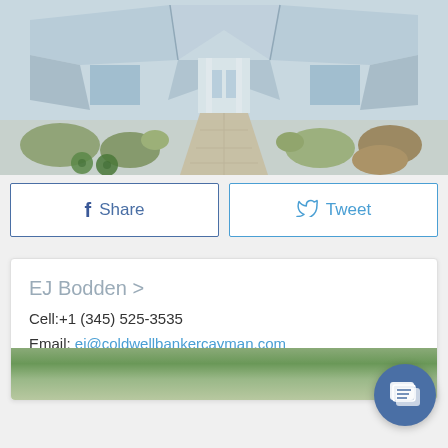[Figure (photo): Aerial/top-down view of a house with light blue metal roof, surrounded by tropical landscaping including green shrubs, palm-like plants, and decorative stones. A paved pathway leads to the entrance.]
f Share
Tweet
EJ Bodden >
Cell:+1 (345) 525-3535
Email: ej@coldwellbankercayman.com
The E.J. Way: Meeting your needs, mak.. read more.
[Figure (photo): Partial view of a property photo at the bottom of the agent card.]